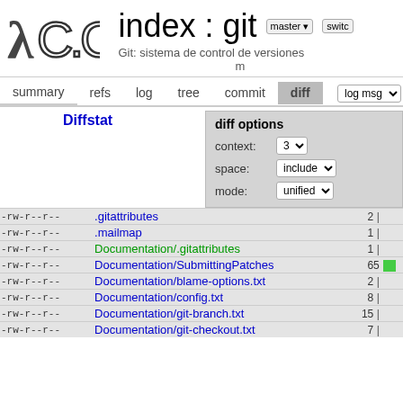index : git  Git: sistema de control de versiones
summary  refs  log  tree  commit  diff  log msg
Diffstat
diff options
context: 3
space: include
mode: unified
| perm | filename | count | bar |
| --- | --- | --- | --- |
| -rw-r--r-- | .gitattributes | 2 | |  |
| -rw-r--r-- | .mailmap | 1 | |  |
| -rw-r--r-- | Documentation/.gitattributes | 1 | |  |
| -rw-r--r-- | Documentation/SubmittingPatches | 65 | ■ |
| -rw-r--r-- | Documentation/blame-options.txt | 2 | |  |
| -rw-r--r-- | Documentation/config.txt | 8 | |  |
| -rw-r--r-- | Documentation/git-branch.txt | 15 | |  |
| -rw-r--r-- | Documentation/git-checkout.txt | 7 | |  |